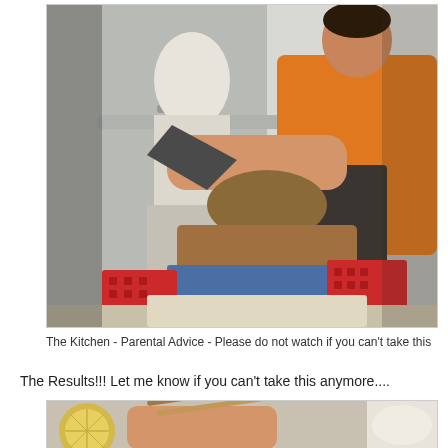[Figure (photo): A man in an orange shirt and dark apron chopping or preparing fish at a market or kitchen counter with a large cleaver. Another worker in white is visible in the background. Red plastic baskets are on either side of a wooden chopping block.]
The Kitchen - Parental Advice - Please do not watch if you can't take this
The Results!!! Let me know if you can't take this anymore....
[Figure (photo): Close-up of hands using chopsticks to handle food, with a lemon or lime slice visible on the left and what appears to be a plate or tray in the foreground.]